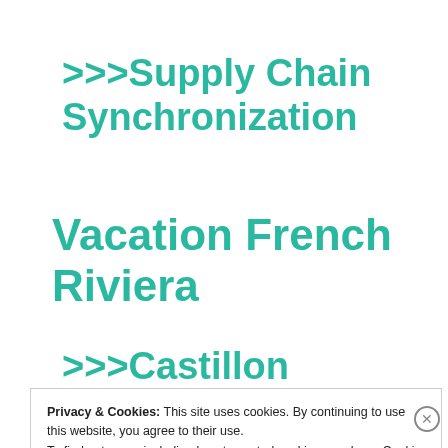>>>Supply Chain Synchronization
Vacation French Riviera
>>>Castillon
Privacy & Cookies: This site uses cookies. By continuing to use this website, you agree to their use.
To find out more, including how to control cookies, see here:
Cookie Policy
Close and accept